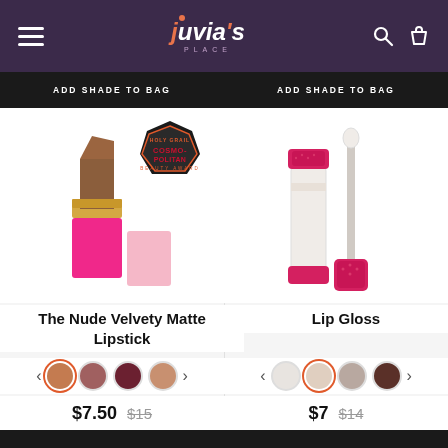Juvia's Place - navigation header with hamburger menu, logo, search and bag icons
ADD SHADE TO BAG
ADD SHADE TO BAG
[Figure (photo): Juvia's Place nude brown matte lipstick product with gold and pink packaging, with Cosmopolitan Holy Grail Beauty Award badge]
The Nude Velvety Matte Lipstick
$7.50   $15
[Figure (photo): Juvia's Place Lip Gloss product showing clear tube and pink decorative cap with applicator wand]
Lip Gloss
$7   $14